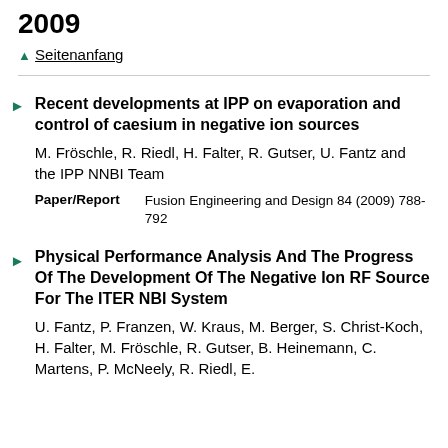2009
▲ Seitenanfang
Recent developments at IPP on evaporation and control of caesium in negative ion sources
M. Fröschle, R. Riedl, H. Falter, R. Gutser, U. Fantz and the IPP NNBI Team
Paper/Report: Fusion Engineering and Design 84 (2009) 788-792
Physical Performance Analysis And The Progress Of The Development Of The Negative Ion RF Source For The ITER NBI System
U. Fantz, P. Franzen, W. Kraus, M. Berger, S. Christ-Koch, H. Falter, M. Fröschle, R. Gutser, B. Heinemann, C. Martens, P. McNeely, R. Riedl, E.